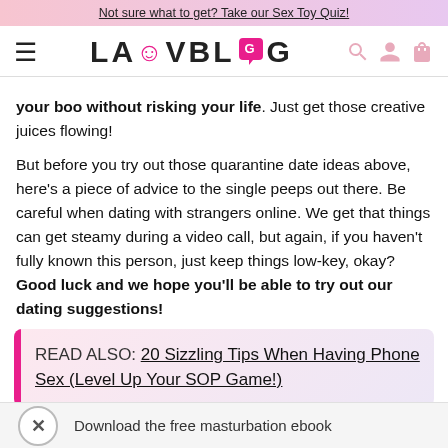Not sure what to get? Take our Sex Toy Quiz!
[Figure (logo): LAUVBLOG logo with pink smiley and chat bubble O, hamburger menu icon, search, user, and bag icons in pink]
your boo without risking your life. Just get those creative juices flowing!
But before you try out those quarantine date ideas above, here's a piece of advice to the single peeps out there. Be careful when dating with strangers online. We get that things can get steamy during a video call, but again, if you haven't fully known this person, just keep things low-key, okay? Good luck and we hope you'll be able to try out our dating suggestions!
READ ALSO: 20 Sizzling Tips When Having Phone Sex (Level Up Your SOP Game!)
Download the free masturbation ebook